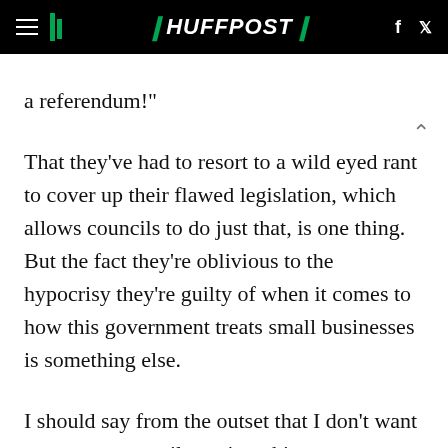HUFFPOST
a referendum!"
That they've had to resort to a wild eyed rant to cover up their flawed legislation, which allows councils to do just that, is one thing. But the fact they're oblivious to the hypocrisy they're guilty of when it comes to how this government treats small businesses is something else.
I should say from the outset that I don't want to see any council tax rises this year or next. But you can't axe funding to local government in